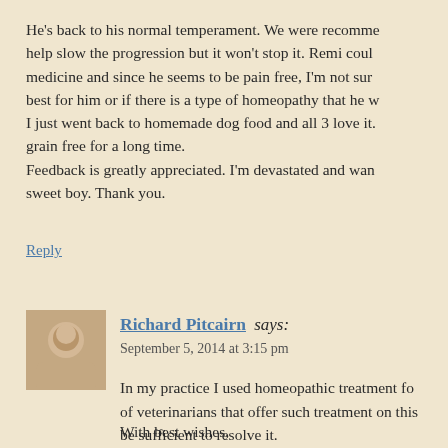He's back to his normal temperament. We were recommended help slow the progression but it won't stop it. Remi could medicine and since he seems to be pain free, I'm not sure best for him or if there is a type of homeopathy that he w I just went back to homemade dog food and all 3 love it. grain free for a long time.
Feedback is greatly appreciated. I'm devastated and wan sweet boy. Thank you.
Reply
Richard Pitcairn says:
September 5, 2014 at 3:15 pm
In my practice I used homeopathic treatment for of veterinarians that offer such treatment on this be sufficient to resolve it.
With best wishes,
Dr. Pitcairn